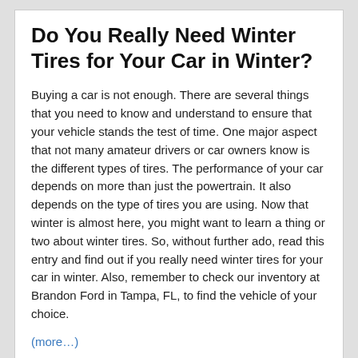Do You Really Need Winter Tires for Your Car in Winter?
Buying a car is not enough. There are several things that you need to know and understand to ensure that your vehicle stands the test of time. One major aspect that not many amateur drivers or car owners know is the different types of tires. The performance of your car depends on more than just the powertrain. It also depends on the type of tires you are using. Now that winter is almost here, you might want to learn a thing or two about winter tires. So, without further ado, read this entry and find out if you really need winter tires for your car in winter. Also, remember to check our inventory at Brandon Ford in Tampa, FL, to find the vehicle of your choice.
(more…)
Posted in Service, Tips and Tricks | Comments Off on Now that Winter is Here, Learn All about Winter Tires
Step By Step Instructions to Connect…